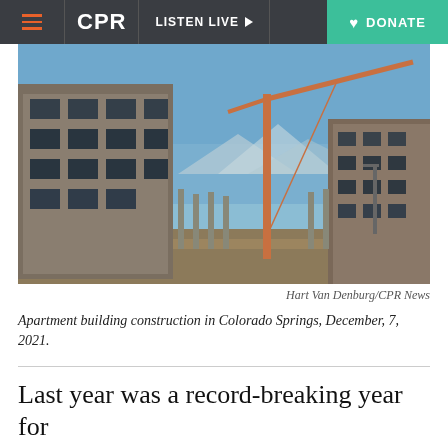CPR | LISTEN LIVE | DONATE
[Figure (photo): Construction site with a tall crane against a blue sky, with partially constructed buildings on both sides, mountains visible in the background. Colorado Springs, December 7, 2021.]
Hart Van Denburg/CPR News
Apartment building construction in Colorado Springs, December, 7, 2021.
Last year was a record-breaking year for